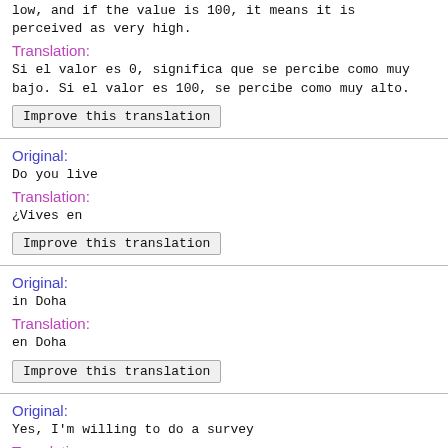low, and if the value is 100, it means it is perceived as very high.
Translation:
Si el valor es 0, significa que se percibe como muy bajo. Si el valor es 100, se percibe como muy alto.
Improve this translation
Original:
Do you live
Translation:
¿Vives en
Improve this translation
Original:
in Doha
Translation:
en Doha
Improve this translation
Original:
Yes, I'm willing to do a survey
Translation:
Si, estoy dispuesto a hacer una encuesta